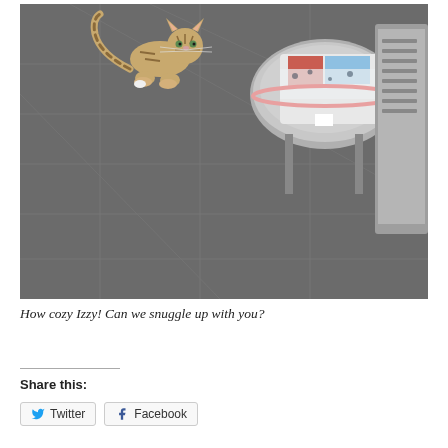[Figure (photo): A tabby cat standing on gray paving stones outdoors, next to a pet carrier/basket with patterned blankets and a metal bench or cart partially visible on the right side.]
How cozy Izzy! Can we snuggle up with you?
Share this: